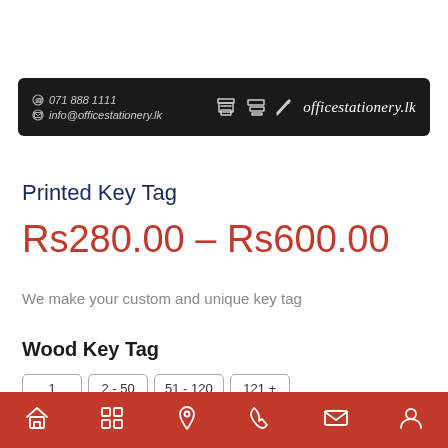071 888 1111 | info@officestationery.lk | officestationery.lk
Printed Key Tag
Rs280.00 – Rs600.00
We make your custom and unique key tag
Wood Key Tag
1 | 2 - 50 | 51 - 120 | 121 +